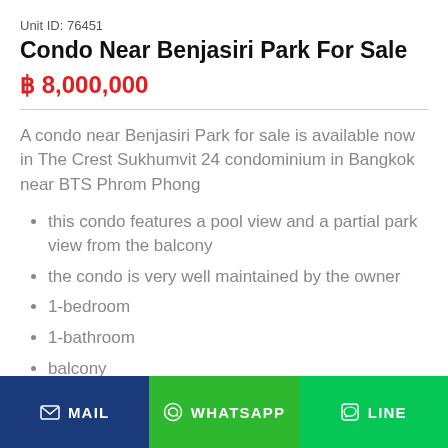Unit ID: 76451
Condo Near Benjasiri Park For Sale
฿ 8,000,000
A condo near Benjasiri Park for sale is available now in The Crest Sukhumvit 24 condominium in Bangkok near BTS Phrom Phong
this condo features a pool view and a partial park view from the balcony
the condo is very well maintained by the owner
1-bedroom
1-bathroom
balcony
low-floor – low-rise building
MAIL | WHATSAPP | LINE